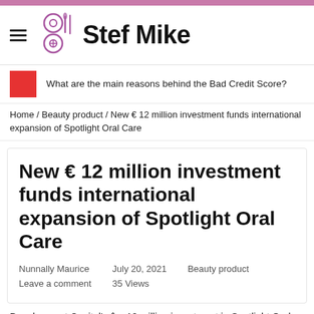Stef Mike
What are the main reasons behind the Bad Credit Score?
Home / Beauty product / New € 12 million investment funds international expansion of Spotlight Oral Care
New € 12 million investment funds international expansion of Spotlight Oral Care
Nunnally Maurice
Leave a comment
July 20, 2021
35 Views
Beauty product
Development Capital's â‚¬ 12 million investment in Spotlight Oral